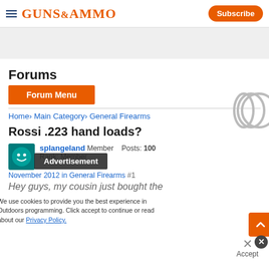GUNS&AMMO | Subscribe
[Figure (other): Advertisement banner placeholder area (light gray)]
Forums
Forum Menu
Home › Main Category › General Firearms
Rossi .223 hand loads?
splangeland   Member   Posts: 100
Rank: Member
Advertisement
November 2012 in General Firearms #1
We use cookies to provide you the best experience in Outdoors programming. Click accept to continue or read about our Privacy Policy.
Hey guys, my cousin just bought the